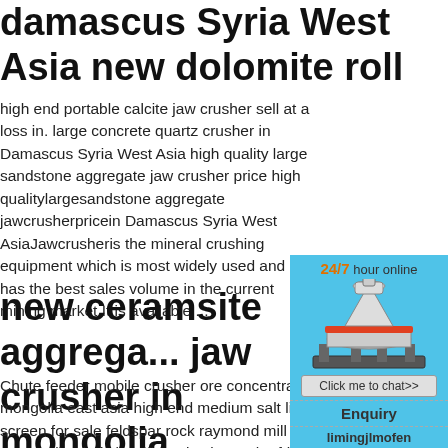damascus Syria West Asia new dolomite roll crusher sell at ...
high end portable calcite jaw crusher sell at a loss in. large concrete quartz crusher in Damascus Syria West Asia high quality large sandstone aggregate jaw crusher price high qualitylargesandstone aggregate jawcrusherpricein Damascus Syria West AsiaJawcrusheris the mineral crushing equipment which is most widely used and has the best sales volume in the current mining market It is available ...
new ceramsite aggregate jaw crusher in mongolia
Chute feeder mobile crusher ore concentra... mongolia east asia high end medium salt li... screen for sale feldspar rock raymond mill g... small spiral classifier price in south africa b... tonnes capacity new silicate aggregate jaw... dhabi the united arab emirates west asia. o...
[Figure (other): Industrial cone crusher machine with orange accent ring, white and gray body, shown against light blue background]
[Figure (infographic): 24/7 hour online chat widget sidebar with cyan background, showing crusher image, 'Click me to chat>>' button, 'Enquiry' section, and 'limingjlmofen' text]
low price small calcium...